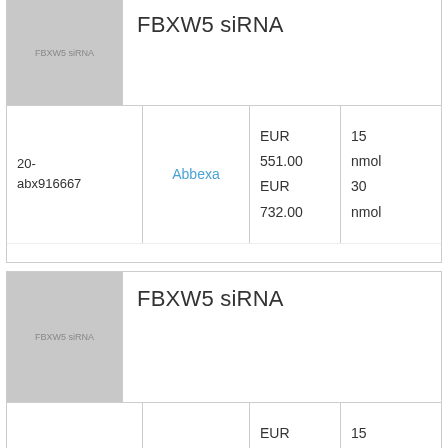| Product Image | Supplier | Price | Size |
| --- | --- | --- | --- |
| 20-abx916667 | Abbexa | EUR 551.00
EUR 732.00 | 15 nmol
30 nmol |
| Product Image | Supplier | Price | Size |
| --- | --- | --- | --- |
| 20- | Abbexa | EUR 551.00
EUR ... | 15 nmol
30 ... |